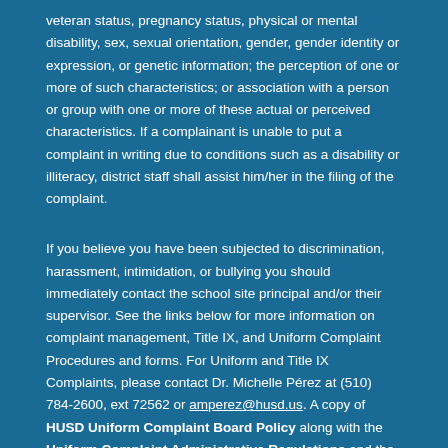veteran status, pregnancy status, physical or mental disability, sex, sexual orientation, gender, gender identity or expression, or genetic information; the perception of one or more of such characteristics; or association with a person or group with one or more of these actual or perceived characteristics. If a complainant is unable to put a complaint in writing due to conditions such as a disability or illiteracy, district staff shall assist him/her in the filing of the complaint.
If you believe you have been subjected to discrimination, harassment, intimidation, or bullying you should immediately contact the school site principal and/or their supervisor. See the links below for more information on complaint management, Title IX, and Uniform Complaint Procedures and forms. For Uniform and Title IX Complaints, please contact Dr. Michelle Pérez at (510) 784-2600, ext 72562 or amperez@husd.us. A copy of HUSD Uniform Complaint Board Policy along with the Uniform Complaint Administrative Regulations and the HUSD non-discrimination policy are available , free of charge, upon request.